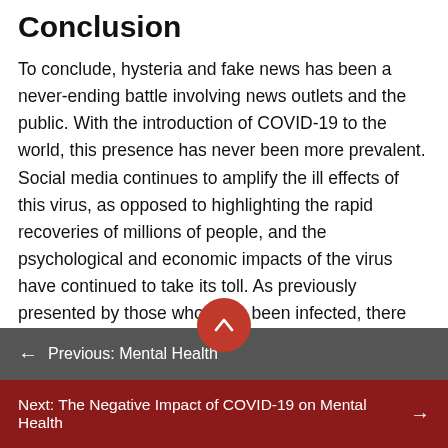Conclusion
To conclude, hysteria and fake news has been a never-ending battle involving news outlets and the public. With the introduction of COVID-19 to the world, this presence has never been more prevalent. Social media continues to amplify the ill effects of this virus, as opposed to highlighting the rapid recoveries of millions of people, and the psychological and economic impacts of the virus have continued to take its toll. As previously presented by those who have been infected, there is a fear behind the hysteria associated with COVID-19, but there is
← Previous: Mental Health
Next: The Negative Impact of COVID-19 on Mental Health →